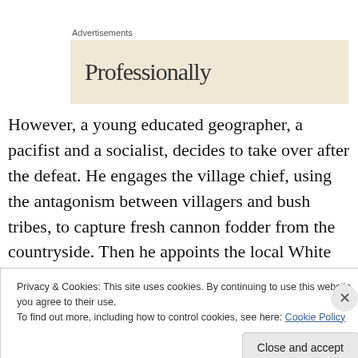Advertisements
[Figure (other): Advertisement banner with text 'Professionally' on a beige/cream background]
However, a young educated geographer, a pacifist and a socialist, decides to take over after the defeat. He engages the village chief, using the antagonism between villagers and bush tribes, to capture fresh cannon fodder from the countryside. Then he appoints the local White
Privacy & Cookies: This site uses cookies. By continuing to use this website, you agree to their use.
To find out more, including how to control cookies, see here: Cookie Policy
Close and accept